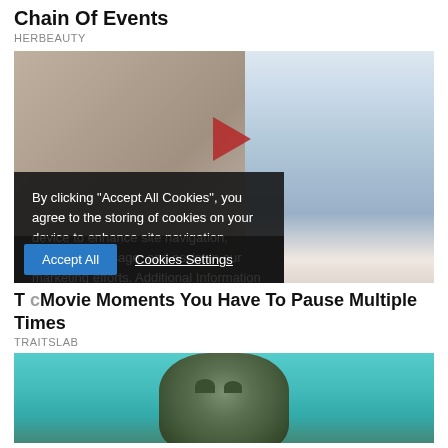Chain Of Events
HERBEAUTY
[Figure (photo): Scene from a movie showing a man in a blue shirt and tie leaning over, with a cookie consent overlay on the left side and a play button in the center]
By clicking "Accept All Cookies", you agree to the storing of cookies on your device to enhance site navigation, analyze site usage, and assist in our marketing efforts. Additional Information
Accept All   Cookies Settings
T... Movie Moments You Have To Pause Multiple Times
TRAITSLAB
[Figure (photo): Bottom portion of a movie or show creature/monster image against a teal/cyan background]